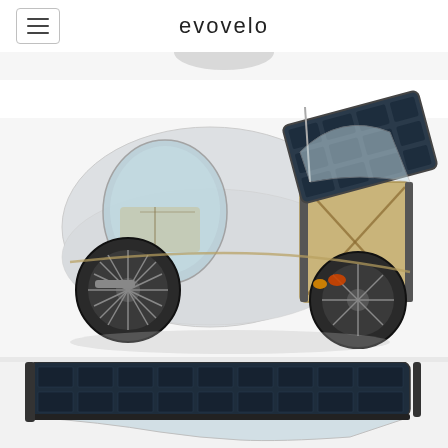evovelo
[Figure (photo): A three-wheeled electric cargo velomobile/e-bike from Evovelo, shown in white/grey color with a transparent canopy, open rear compartment revealing wood-paneled interior, solar panel roof panel lifted open, two wheels visible (front and rear), tail lights visible, photographed against a white background.]
[Figure (photo): Close-up top/front view of the Evovelo vehicle showing the solar panel roof and front canopy window, partially cropped at bottom of page.]